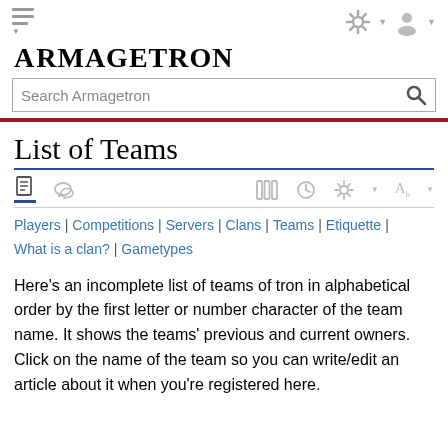Armagetron
List of Teams
Players | Competitions | Servers | Clans | Teams | Etiquette | What is a clan? | Gametypes
Here's an incomplete list of teams of tron in alphabetical order by the first letter or number character of the team name. It shows the teams' previous and current owners. Click on the name of the team so you can write/edit an article about it when you're registered here.